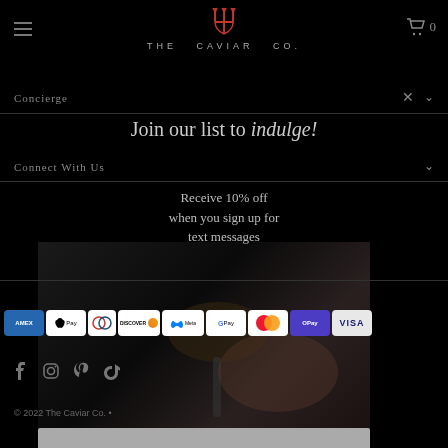[Figure (logo): The Caviar Co. logo with red trident and text 'THE CAVIAR CO.']
Concierge
Connect With Us
Join our list to indulge!
Receive 10% off when you sign up for text messages
[Figure (infographic): Payment method icons: AMEX, Apple Pay, Diners Club, Discover, Meta Pay, Google Pay, Mastercard, OPay, VISA]
[Figure (infographic): Social media icons: Facebook, Instagram, Pinterest, TikTok]
[Figure (photo): Hand holding a spoon with caviar on it against dark background]
© 2022 The Caviar Co. •